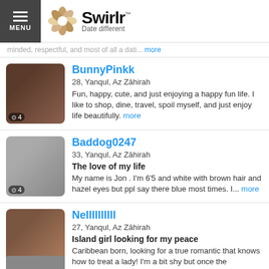Swirlr — Date different
minded, respectful, and most of all a dati... more
BunnyPinkk
28, Yanqul, Az Zāhirah
Fun, happy, cute, and just enjoying a happy fun life. I like to shop, dine, travel, spoil myself, and just enjoy life beautifully. more
Baddog0247
33, Yanqul, Az Zāhirah
The love of my life
My name is Jon . I'm 6'5 and white with brown hair and hazel eyes but ppl say there blue most times. I... more
Nellllllllll
27, Yanqul, Az Zāhirah
Island girl looking for my peace
Caribbean born, looking for a true romantic that knows how to treat a lady! I'm a bit shy but once the